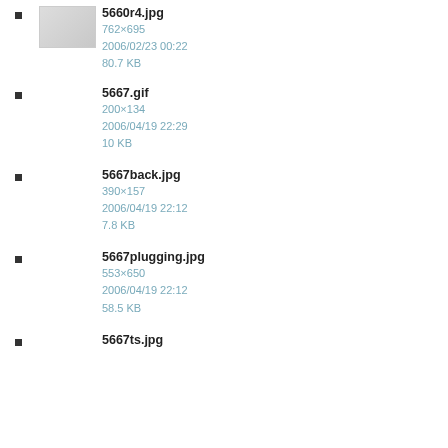5660r4.jpg
762×695
2006/02/23 00:22
80.7 KB
5667.gif
200×134
2006/04/19 22:29
10 KB
5667back.jpg
390×157
2006/04/19 22:12
7.8 KB
5667plugging.jpg
553×650
2006/04/19 22:12
58.5 KB
5667ts.jpg